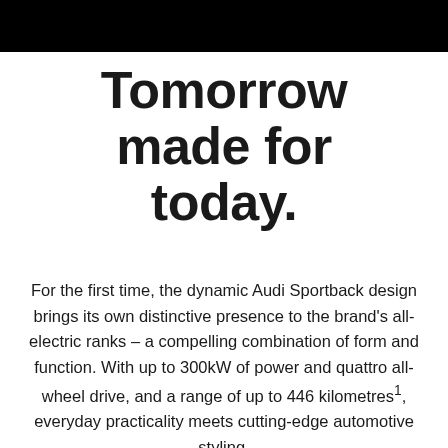Tomorrow made for today.
For the first time, the dynamic Audi Sportback design brings its own distinctive presence to the brand's all-electric ranks – a compelling combination of form and function. With up to 300kW of power and quattro all-wheel drive, and a range of up to 446 kilometres¹, everyday practicality meets cutting-edge automotive styling.